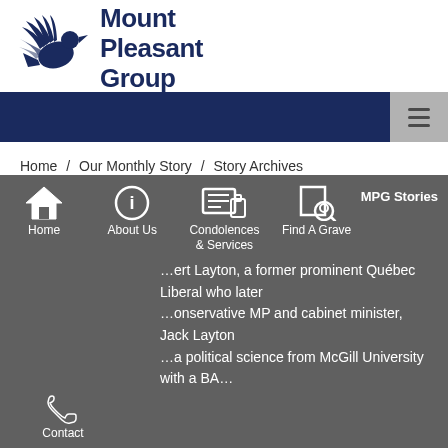[Figure (logo): Mount Pleasant Group logo with bird/dove icon and text 'Mount Pleasant Group' in dark navy blue]
Mount Pleasant Group
Home / Our Monthly Story / Story Archives / Toronto Necropolis / Layton
[Figure (infographic): Mobile navigation bar with icons: Home, About Us, Condolences & Services, Find A Grave, MPG Stories, Contact]
...ert Layton, a former prominent Québec Liberal who later ...onservative MP and cabinet minister, Jack Layton ...a political science from McGill University with a BA...